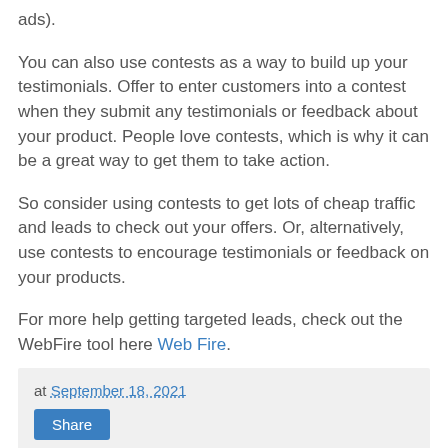ads).
You can also use contests as a way to build up your testimonials. Offer to enter customers into a contest when they submit any testimonials or feedback about your product. People love contests, which is why it can be a great way to get them to take action.
So consider using contests to get lots of cheap traffic and leads to check out your offers. Or, alternatively, use contests to encourage testimonials or feedback on your products.
For more help getting targeted leads, check out the WebFire tool here Web Fire.
at September 18, 2021
Share
No comments: